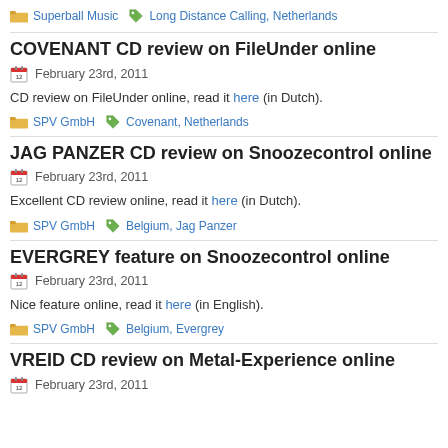Superball Music   Long Distance Calling, Netherlands
COVENANT CD review on FileUnder online
February 23rd, 2011
CD review on FileUnder online, read it here (in Dutch).
SPV GmbH   Covenant, Netherlands
JAG PANZER CD review on Snoozecontrol online
February 23rd, 2011
Excellent CD review online, read it here (in Dutch).
SPV GmbH   Belgium, Jag Panzer
EVERGREY feature on Snoozecontrol online
February 23rd, 2011
Nice feature online, read it here (in English).
SPV GmbH   Belgium, Evergrey
VREID CD review on Metal-Experience online
February 23rd, 2011